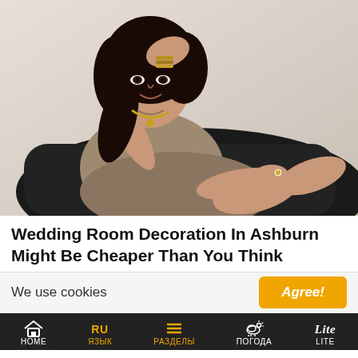[Figure (photo): Woman with dark hair seated, wearing a beige top and golden necklace and bracelets, leaning back on a dark chair. Studio-style photo with light background.]
Wedding Room Decoration In Ashburn Might Be Cheaper Than You Think
We use cookies
Agree!
HOME  ЯЗЫК  РАЗДЕЛЫ  ПОГОДА  LITE